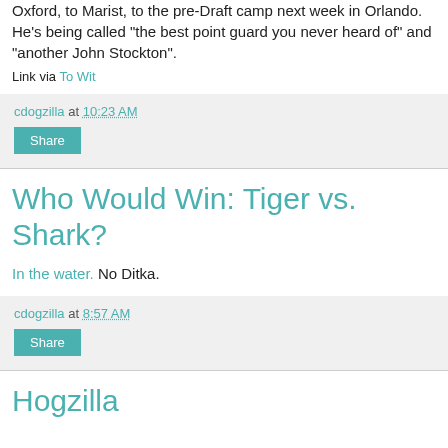Oxford, to Marist, to the pre-Draft camp next week in Orlando. He's being called "the best point guard you never heard of" and "another John Stockton".
Link via To Wit
cdogzilla at 10:23 AM
Share
Who Would Win: Tiger vs. Shark?
In the water. No Ditka.
cdogzilla at 8:57 AM
Share
Hogzilla